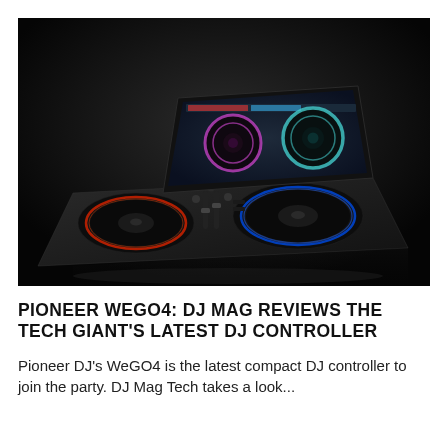[Figure (photo): Pioneer WeGO4 DJ controller photographed against a dark black background. The compact black controller has two jog wheels with red/blue LED lighting, faders and knobs in the center, and a tablet displaying DJ software propped up at an angle at the back.]
PIONEER WEGO4: DJ MAG REVIEWS THE TECH GIANT'S LATEST DJ CONTROLLER
Pioneer DJ's WeGO4 is the latest compact DJ controller to join the party. DJ Mag Tech takes a look...